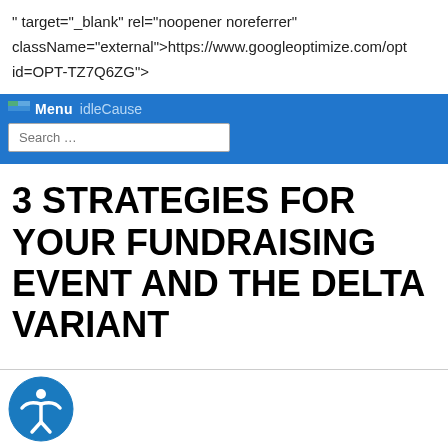" target="_blank" rel="noopener noreferrer" className="external">https://www.googleoptimize.com/opt id=OPT-TZ7Q6ZG">
[Figure (screenshot): Blue navigation bar with hamburger menu icon, 'Menu' button text, 'idleCause' site title in light blue, and a search input box below]
3 STRATEGIES FOR YOUR FUNDRAISING EVENT AND THE DELTA VARIANT
[Figure (illustration): Accessibility icon - blue circle with white figure of a person with arms outstretched]